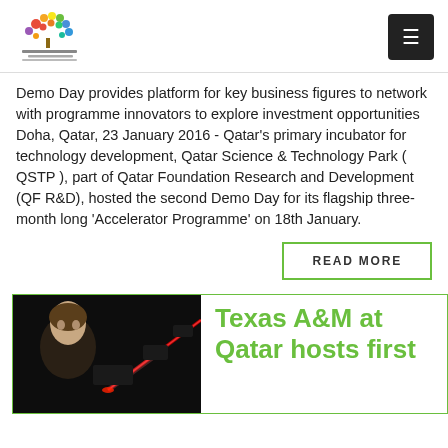Qatar Foundation Research and Development logo and menu
Demo Day provides platform for key business figures to network with programme innovators to explore investment opportunities
Doha, Qatar, 23 January 2016 - Qatar's primary incubator for technology development, Qatar Science & Technology Park ( QSTP ), part of Qatar Foundation Research and Development (QF R&D), hosted the second Demo Day for its flagship three-month long 'Accelerator Programme' on 18th January.
READ MORE
[Figure (photo): A person examining a red laser beam setup in a dark laboratory environment]
Texas A&M at Qatar hosts first